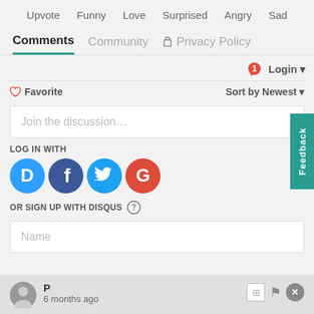Upvote  Funny  Love  Surprised  Angry  Sad
Comments  Community  Privacy Policy
1  Login ▾
♡ Favorite    Sort by Newest ▾
Join the discussion…
LOG IN WITH
[Figure (screenshot): Social login icons: Disqus (D), Facebook (f), Twitter bird, Google (G)]
OR SIGN UP WITH DISQUS (?)
Name
P
6 months ago
Feedback